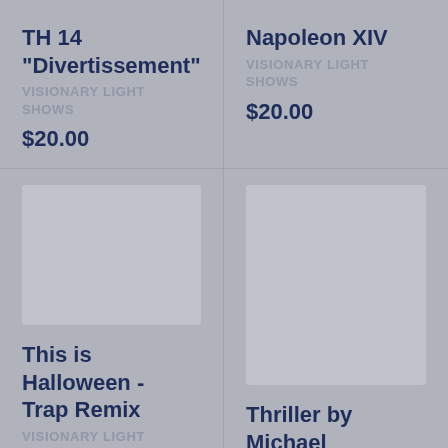TH 14 "Divertissement"
VISIONARY LIGHT SHOWS
$20.00
Napoleon XIV
VISIONARY LIGHT SHOWS
$20.00
[Figure (photo): Product image placeholder for This is Halloween - Trap Remix]
This is Halloween - Trap Remix
VISIONARY LIGHT SHOWS, LLC
$20.00
[Figure (photo): Product image placeholder for Thriller by Michael Jackson]
Thriller by Michael Jackson